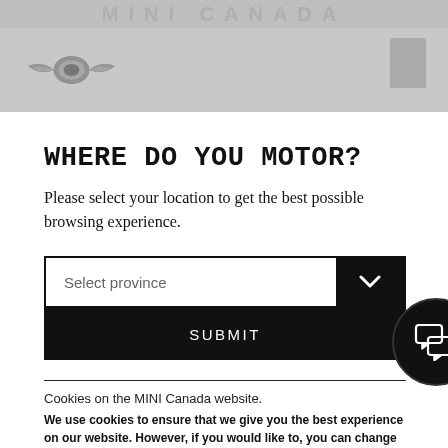[Figure (logo): MINI Canada website header with MINI logo (wings emblem) on grey background and navigation icon]
WHERE DO YOU MOTOR?
Please select your location to get the best possible browsing experience.
Select province
SUBMIT
Cookies on the MINI Canada website.
We use cookies to ensure that we give you the best experience on our website. However, if you would like to, you can change your cookie settings at any time through your browser settings. We will assume you're ok to